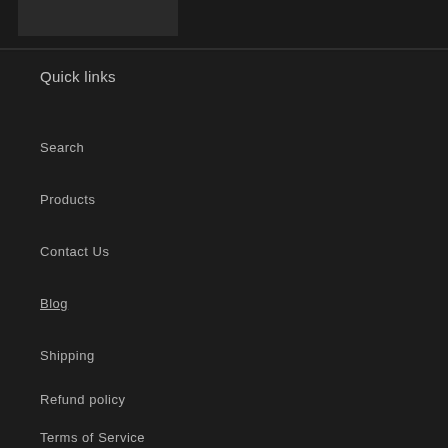Quick links
Search
Products
Contact Us
Blog
Shipping
Refund policy
Terms of Service
CarY Corporate